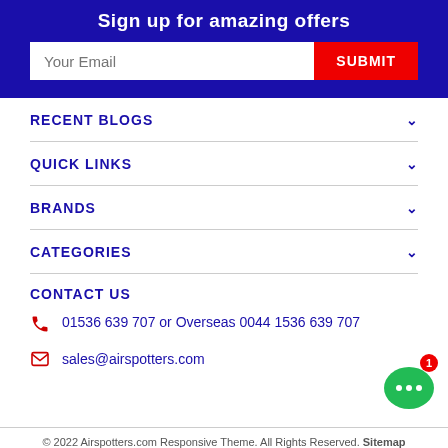Sign up for amazing offers
Your Email
SUBMIT
RECENT BLOGS
QUICK LINKS
BRANDS
CATEGORIES
CONTACT US
01536 639 707 or Overseas 0044 1536 639 707
sales@airspotters.com
© 2022 Airspotters.com Responsive Theme. All Rights Reserved. Sitemap